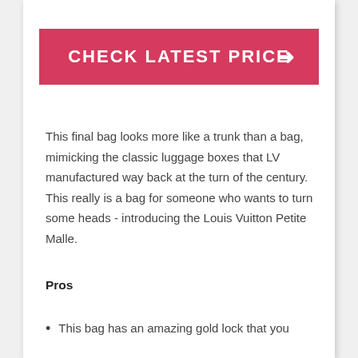[Figure (other): Red/pink button with white bold text 'CHECK LATEST PRICE' and a right-pointing arrow icon on the right side]
This final bag looks more like a trunk than a bag, mimicking the classic luggage boxes that LV manufactured way back at the turn of the century. This really is a bag for someone who wants to turn some heads - introducing the Louis Vuitton Petite Malle.
Pros
This bag has an amazing gold lock that you